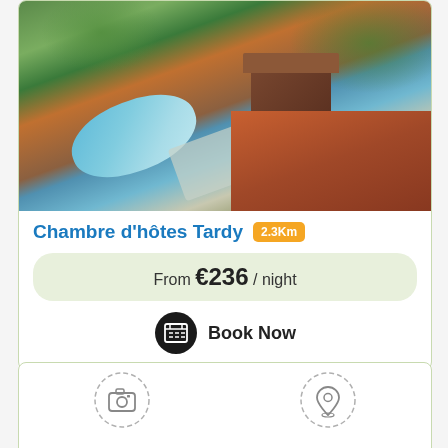[Figure (photo): Aerial/drone view of a property with a swimming pool, red tiled roof, brown shed, and green garden areas]
Chambre d'hôtes Tardy 2.3Km
From €236 / night
Book Now
[Figure (other): Two dashed-circle icons: a camera icon on the left and a location pin icon on the right, representing photo gallery and map views]